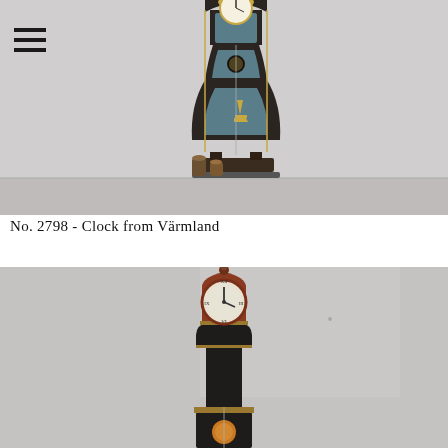[Figure (photo): A tall ornate Mora-style grandfather clock painted dark (black/dark grey) with blue and gold decorative panels, standing against a light grey wall. Two cylindrical weights hang from the clock mechanism beside it on the floor. The clock has a decorative top with gold finials and an ornate face.]
No. 2798 - Clock from Värmland
[Figure (photo): A second antique Mora grandfather clock, this one with a round reddish-brown bonnet/hood housing the clock face with Roman numerals. The body is dark (almost black) with some gold/copper decorative trim. The clock is photographed against a light grey wall, showing the upper portion of the clock.]